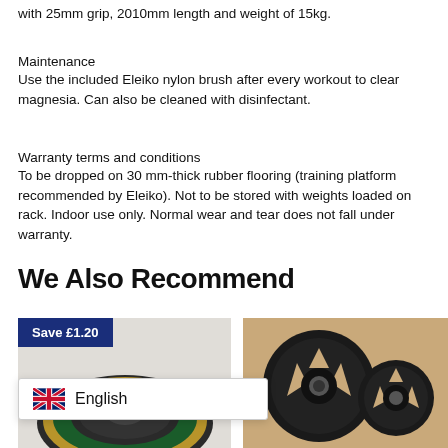with 25mm grip, 2010mm length and weight of 15kg.
Maintenance
Use the included Eleiko nylon brush after every workout to clear magnesia. Can also be cleaned with disinfectant.
Warranty terms and conditions
To be dropped on 30 mm-thick rubber flooring (training platform recommended by Eleiko). Not to be stored with weights loaded on rack. Indoor use only. Normal wear and tear does not fall under warranty.
We Also Recommend
[Figure (photo): Eleiko weight disc product with 'Save £1.20' badge, showing a round Eleiko barbell plate in gold/green color with ELEIKO text]
[Figure (photo): Weight plates on a beige/tan background — iron tri-grip Olympic plates]
English (with UK flag icon)